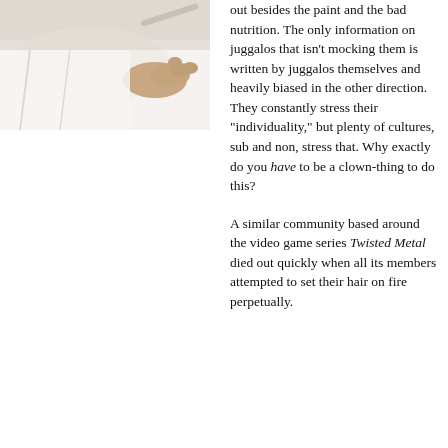[Figure (photo): A person's hands and feet resting, wearing a white garment, on a light background — partial body shot cropped at top-left of the page.]
out besides the paint and the bad nutrition. The only information on juggalos that isn't mocking them is written by juggalos themselves and heavily biased in the other direction. They constantly stress their "individuality," but plenty of cultures, sub and non, stress that. Why exactly do you have to be a clown-thing to do this?

A similar community based around the video game series Twisted Metal died out quickly when all its members attempted to set their hair on fire perpetually.